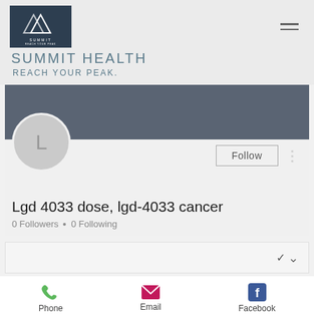[Figure (logo): Summit Health logo — dark navy background with two overlapping white triangle outlines and text SUMMIT / REACH YOUR PEAK below]
SUMMIT HEALTH
REACH YOUR PEAK.
[Figure (screenshot): User profile card with gray banner, circular avatar showing 'L', Follow button, three-dot menu, username 'Lgd 4033 dose, lgd-4033 cancer', and '0 Followers • 0 Following']
Lgd 4033 dose, lgd-4033 cancer
0 Followers • 0 Following
[Figure (screenshot): Dropdown collapsed bar with chevron]
Phone
Email
Facebook